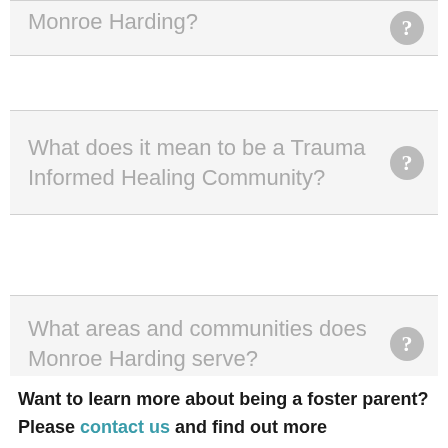Monroe Harding?
What does it mean to be a Trauma Informed Healing Community?
What areas and communities does Monroe Harding serve?
Want to learn more about being a foster parent? Please contact us and find out more